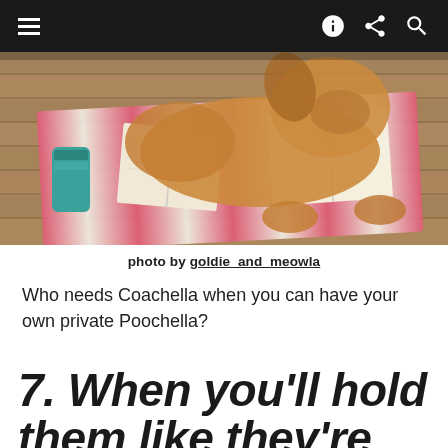Navigation bar with hamburger menu, share icon, and search icon
[Figure (photo): A golden retriever dog lying on a pink and white striped blanket on a wooden deck/dock, surrounded by open books. A teal insulated can holder is visible on the left side.]
photo by goldie_and_meowla
Who needs Coachella when you can have your own private Poochella?
7. When you'll hold them like they're still a puppy...